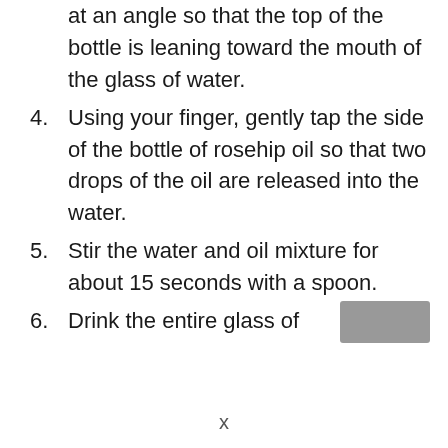at an angle so that the top of the bottle is leaning toward the mouth of the glass of water.
4. Using your finger, gently tap the side of the bottle of rosehip oil so that two drops of the oil are released into the water.
5. Stir the water and oil mixture for about 15 seconds with a spoon.
6. Drink the entire glass of
[Figure (other): Gray rectangle partially visible at bottom right corner of page]